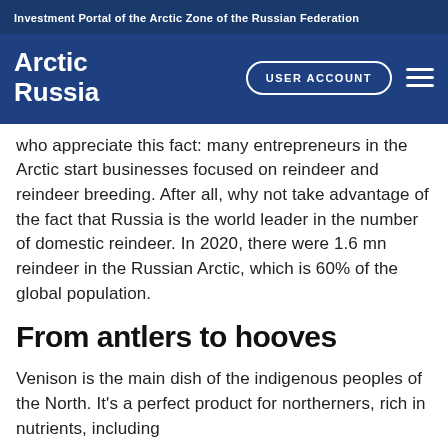Investment Portal of the Arctic Zone of the Russian Federation
[Figure (logo): Arctic Russia logo with USER ACCOUNT button and hamburger menu on dark blue navigation bar]
who appreciate this fact: many entrepreneurs in the Arctic start businesses focused on reindeer and reindeer breeding. After all, why not take advantage of the fact that Russia is the world leader in the number of domestic reindeer. In 2020, there were 1.6 mn reindeer in the Russian Arctic, which is 60% of the global population.
From antlers to hooves
Venison is the main dish of the indigenous peoples of the North. It's a perfect product for northerners, rich in nutrients, including